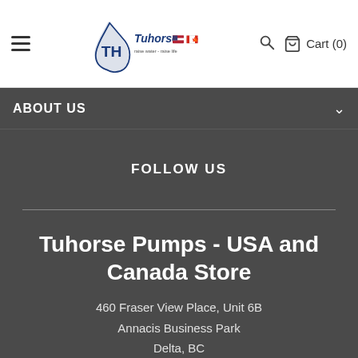[Figure (logo): Tuhorse logo with water drop icon and text 'raise water - raise life' with US and Canadian flags]
Cart (0)
ABOUT US
FOLLOW US
Tuhorse Pumps - USA and Canada Store
460 Fraser View Place, Unit 6B
Annacis Business Park
Delta, BC
V3M 6H4